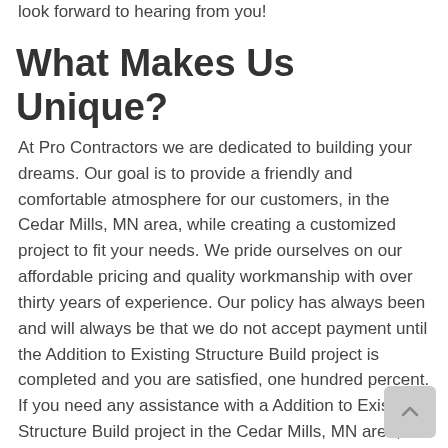look forward to hearing from you!
What Makes Us Unique?
At Pro Contractors we are dedicated to building your dreams. Our goal is to provide a friendly and comfortable atmosphere for our customers, in the Cedar Mills, MN area, while creating a customized project to fit your needs. We pride ourselves on our affordable pricing and quality workmanship with over thirty years of experience. Our policy has always been and will always be that we do not accept payment until the Addition to Existing Structure Build project is completed and you are satisfied, one hundred percent. If you need any assistance with a Addition to Existing Structure Build project in the Cedar Mills, MN area, please call Pro Contractors at